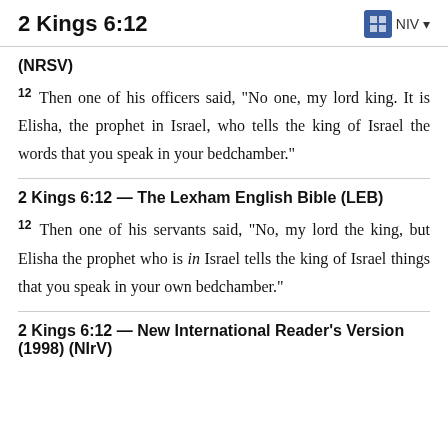2 Kings 6:12
(NRSV)
12 Then one of his officers said, “No one, my lord king. It is Elisha, the prophet in Israel, who tells the king of Israel the words that you speak in your bedchamber.”
2 Kings 6:12 — The Lexham English Bible (LEB)
12 Then one of his servants said, “No, my lord the king, but Elisha the prophet who is in Israel tells the king of Israel things that you speak in your own bedchamber.”
2 Kings 6:12 — New International Reader’s Version (1998) (NIrV)